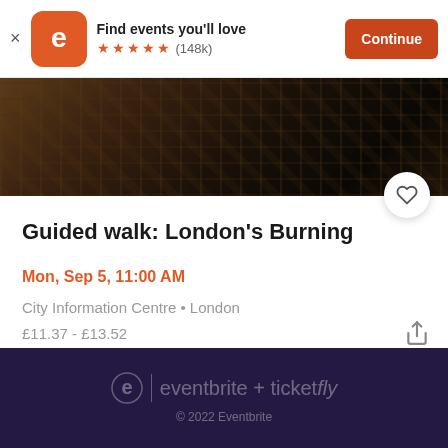[Figure (screenshot): Eventbrite app banner with orange logo, 'Find events you'll love', 5 star rating (148k), and orange Continue button]
[Figure (photo): Dark mosaic/decorative image used as event header photo for the guided walk event]
Guided walk: London's Burning
Mon, Sep 5, 11:00 AM
City Information Centre • London
£11.37 - £13.52
eventbrite + ticketfly
© 2022 Eventbrite